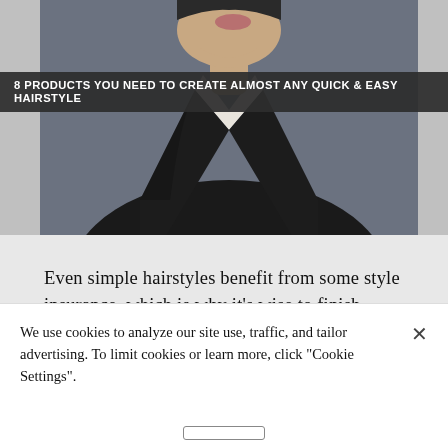[Figure (photo): Fashion/editorial photo of a young man in a dark suit and white shirt, photographed from the side/profile against a grey-blue background. The image is partially cropped showing from chin to chest.]
8 PRODUCTS YOU NEED TO CREATE ALMOST ANY QUICK & EASY HAIRSTYLE
Even simple hairstyles benefit from some style insurance, which is why it's wise to finish looks with this all-day hairspray. Each spritz of Triple Take 32 High-Hold Hairspray releases a fine, fast-drying mist that locks in styles for twenty-four
We use cookies to analyze our site use, traffic, and tailor advertising. To limit cookies or learn more, click "Cookie Settings".